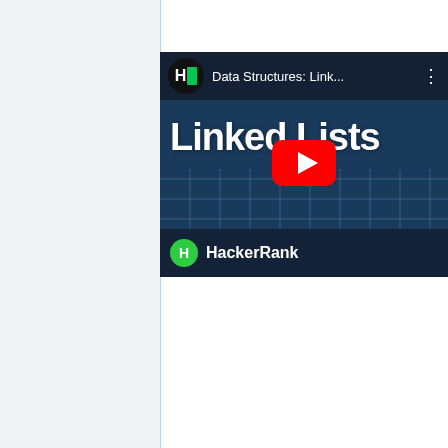[Figure (screenshot): YouTube video thumbnail for HackerRank's 'Data Structures: Linked Lists' video. Shows a dark blue background with large white bold text 'Linked Lists', a YouTube play button in the center, HackerRank logo at top left, video title 'Data Structures: Link...' in the top bar, and HackerRank branding at the bottom.]